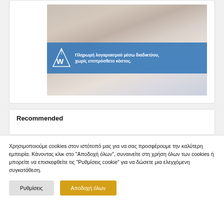[Figure (photo): Photo of hands holding a smartphone and credit card, with a blue overlay banner reading 'Πληρωμή λογαριασμού μέσω διαδικτύου, χωρίς επιπρόσθετο κόστος.' and a stylized W logo icon.]
Recommended
Χρησιμοποιούμε cookies στον ιστότοπό μας για να σας προσφέρουμε την καλύτερη εμπειρία. Κάνοντας κλικ στο "Αποδοχή όλων", συναινείτε στη χρήση όλων των cookies ή μπορείτε να επισκεφθείτε τις "Ρυθμίσεις cookie" για να δώσετε μια ελεγχόμενη συγκατάθεση.
Ρυθμίσεις
Αποδοχή όλων